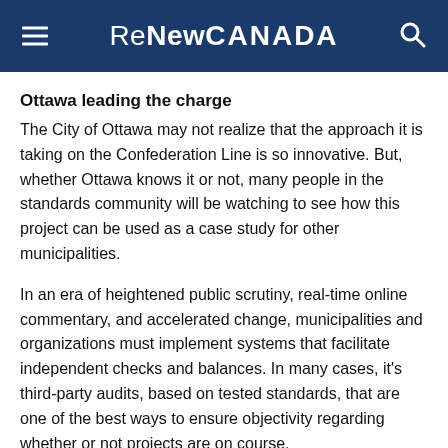ReNew CANADA
Ottawa leading the charge
The City of Ottawa may not realize that the approach it is taking on the Confederation Line is so innovative. But, whether Ottawa knows it or not, many people in the standards community will be watching to see how this project can be used as a case study for other municipalities.
In an era of heightened public scrutiny, real-time online commentary, and accelerated change, municipalities and organizations must implement systems that facilitate independent checks and balances. In many cases, it's third-party audits, based on tested standards, that are one of the best ways to ensure objectivity regarding whether or not projects are on course.